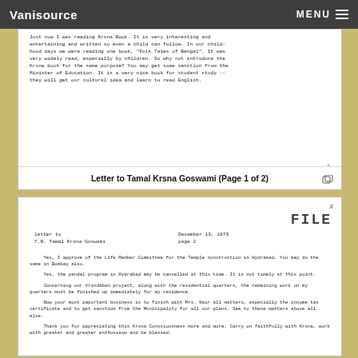Vanisource    MENU
Just now I was reading Krsna Book. It is very interesting and entertaining and written so even a child can follow. In our childhood days we were reading one book, "Folk Tales of Bengal". It was very widely read, especially by children. So why not introduce the Krsna book for the same purpose? You may get some sanction from the Minister of Education. It is a very nice book for student study -- they will get our cultural idea and learn to read English.
Letter to Tamal Krsna Goswami (Page 1 of 2)
letter to    December 13, 1973
T.N. Tamal Krsna Goswami    page 2
Yes, I approve of the Life Member Committee for the Temple construction in Hydrabad. You may do the same in Bombay also.

Yes, the pandal program in Hydrabad may be cancelled at this time. It is not timely at this point.

Concerning our Vrindaban project, along with the residential quarters, the remaining work on my quarters must be finished up immediately for my residence.

Now your most important business is to finish with Mrs. Nair all matters, especially the income tax certificate and to get sanction from the Municipality for all our plans. See to these matters above all else.

Thank you for appreciating this Krsna Consciousness more and more. Carry on faithfully with Krsna, work with greater and greater enthusiasm and be blessed.